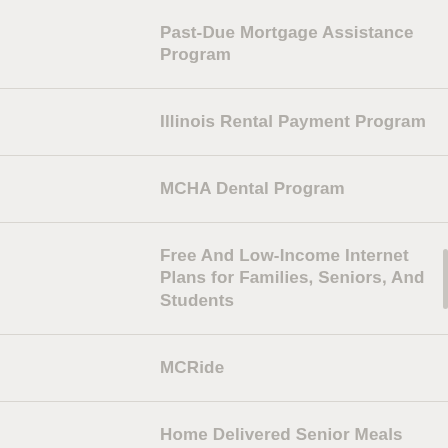Past-Due Mortgage Assistance Program
Illinois Rental Payment Program
MCHA Dental Program
Free And Low-Income Internet Plans for Families, Seniors, And Students
MCRide
Home Delivered Senior Meals Program